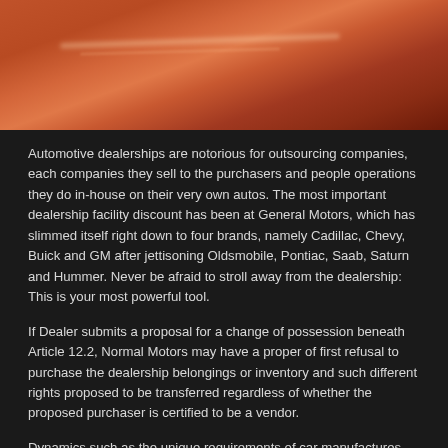[Figure (photo): Close-up photograph of a car body panel or surface with warm reddish-orange tones and a subtle light reflection streak across the surface.]
Automotive dealerships are notorious for outsourcing companies, each companies they sell to the purchasers and people operations they do in-house on their very own autos. The most important dealership facility discount has been at General Motors, which has slimmed itself right down to four brands, namely Cadillac, Chevy, Buick and GM after jettisoning Oldsmobile, Pontiac, Saab, Saturn and Hummer. Never be afraid to stroll away from the dealership: This is your most powerful tool.
If Dealer submits a proposal for a change of possession beneath Article 12.2, Normal Motors may have a proper of first refusal to purchase the dealership belongings or inventory and such different rights proposed to be transferred regardless of whether the proposed purchaser is certified to be a vendor.
Dynamics such as the unique requirements of car manufactures and distributors can restrict the quantity of monies which may be paid for a dealership, regardless of what perspective purchasers may provide to pay for the shop. This attachment can occur months after the dealership has closed.